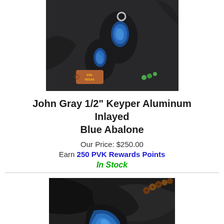[Figure (photo): Product photo of John Gray 1/2" Keyper Aluminum Inlayed Blue Abalone tools on dark background, with PVK Vegas tag visible]
John Gray 1/2" Keyper Aluminum Inlayed Blue Abalone
Our Price: $250.00
Earn 250 PVK Rewards Points
In Stock
[Figure (photo): Close-up product photo of John Gray Keyper with blue abalone inlay on dark leather background with beads]